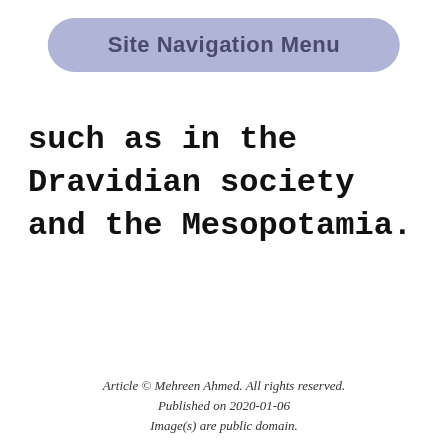Site Navigation Menu
such as in the Dravidian society and the Mesopotamia.
Article © Mehreen Ahmed. All rights reserved.
Published on 2020-01-06
Image(s) are public domain.